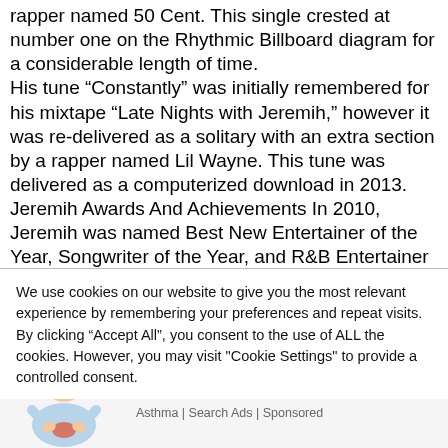rapper named 50 Cent. This single crested at number one on the Rhythmic Billboard diagram for a considerable length of time.
His tune “Constantly” was initially remembered for his mixtape “Late Nights with Jeremih,” however it was re-delivered as a solitary with an extra section by a rapper named Lil Wayne. This tune was delivered as a computerized download in 2013.
Jeremih Awards And Achievements In 2010, Jeremih was named Best New Entertainer of the Year, Songwriter of the Year, and R&B Entertainer of the Year. In 2011, he was named Best Male Vocalist of the
We use cookies on our website to give you the most relevant experience by remembering your preferences and repeat visits. By clicking “Accept All”, you consent to the use of ALL the cookies. However, you may visit "Cookie Settings" to provide a controlled consent.
[Figure (illustration): Cartoon illustration of a person with a pained expression holding their stomach, shown from waist up.]
What Is Eosinophilic Asthma? You May Have No Idea Of The Signs
Asthma | Search Ads | Sponsored